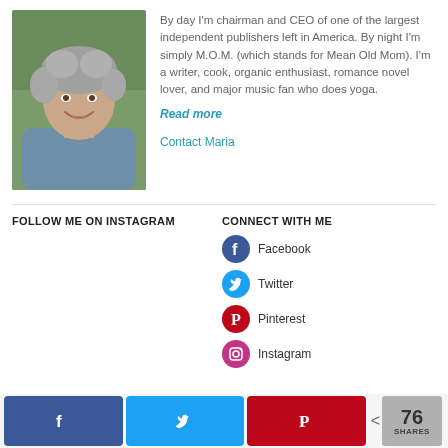[Figure (photo): Portrait photo of a smiling middle-aged woman with curly gray hair, wearing a denim shirt, outdoors with green background.]
By day I'm chairman and CEO of one of the largest independent publishers left in America. By night I'm simply M.O.M. (which stands for Mean Old Mom). I'm a writer, cook, organic enthusiast, romance novel lover, and major music fan who does yoga.
Read more
Contact Maria
FOLLOW ME ON INSTAGRAM
CONNECT WITH ME
Facebook
Twitter
Pinterest
Instagram
76 SHARES